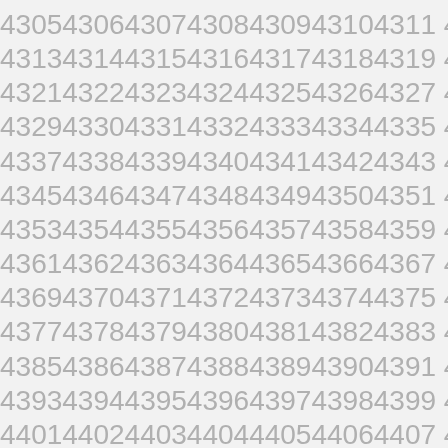4305 4306 4307 4308 4309 4310 4311 4312
4313 4314 4315 4316 4317 4318 4319 4320
4321 4322 4323 4324 4325 4326 4327 4328
4329 4330 4331 4332 4333 4334 4335 4336
4337 4338 4339 4340 4341 4342 4343 4344
4345 4346 4347 4348 4349 4350 4351 4352
4353 4354 4355 4356 4357 4358 4359 4360
4361 4362 4363 4364 4365 4366 4367 4368
4369 4370 4371 4372 4373 4374 4375 4376
4377 4378 4379 4380 4381 4382 4383 4384
4385 4386 4387 4388 4389 4390 4391 4392
4393 4394 4395 4396 4397 4398 4399 4400
4401 4402 4403 4404 4405 4406 4407 4408